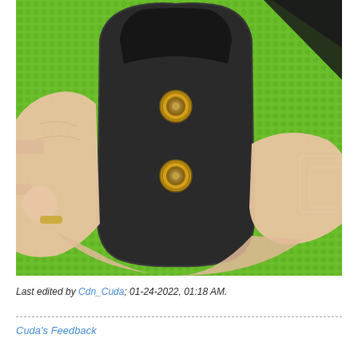[Figure (photo): A hand holding a small black rectangular device with two gold-colored threaded inserts/connectors on its face, photographed against a bright green textured mat background with black markings.]
Last edited by Cdn_Cuda; 01-24-2022, 01:18 AM.
Cuda's Feedback